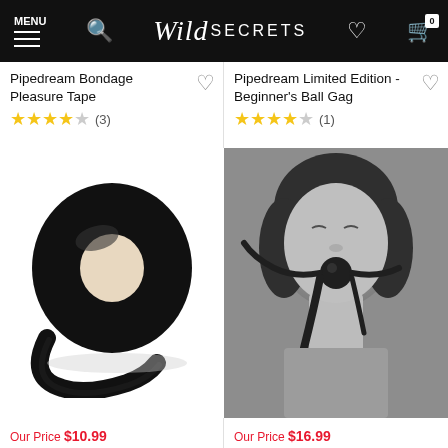MENU | Wild SECRETS
Pipedream Bondage Pleasure Tape
★★★★☆ (3)
[Figure (photo): Roll of black bondage pleasure tape on white background]
Our Price $10.99
Pipedream Limited Edition - Beginner's Ball Gag
★★★★☆ (1)
[Figure (photo): Black and white photo of woman wearing a black ball gag with straps]
Our Price $16.99